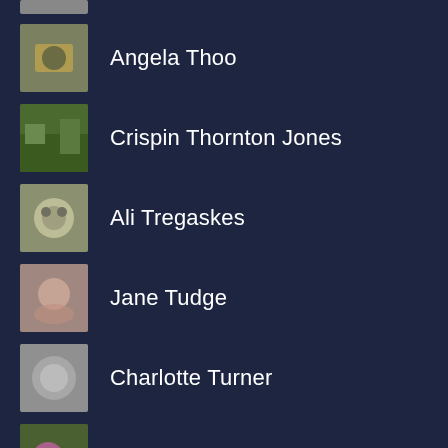Angela Thoo
Crispin Thornton Jones
Ali Tregaskes
Jane Tudge
Charlotte Turner
Bronwen Tyler-Jones
Libby Vale
Catherine Van Giap
Claire Vaughan
Miriam Vincent